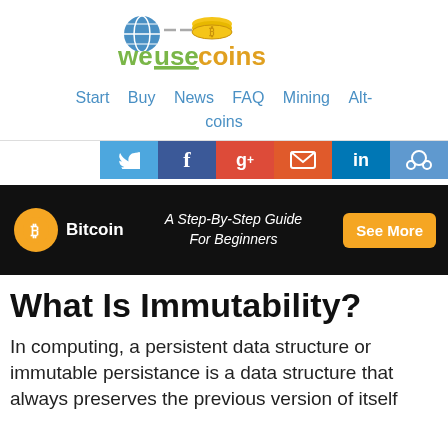[Figure (logo): WeUseCoins website logo with globe icon and bitcoin coin stack icon, text reads 'weusecoins' with stylized green and gold colors]
[Figure (infographic): Navigation bar with links: Start, Buy, News, FAQ, Mining, Alt-coins in blue color]
[Figure (infographic): Social share buttons row: Twitter (blue), Facebook (dark blue), Google+ (red), Email (orange-red), LinkedIn (blue), Reddit (light blue)]
[Figure (infographic): Advertisement banner with black background. Bitcoin orange circle icon with B, text 'Bitcoin', center text 'A Step-By-Step Guide For Beginners', orange 'See More' button on right]
What Is Immutability?
In computing, a persistent data structure or immutable persistance is a data structure that always preserves the previous version of itself